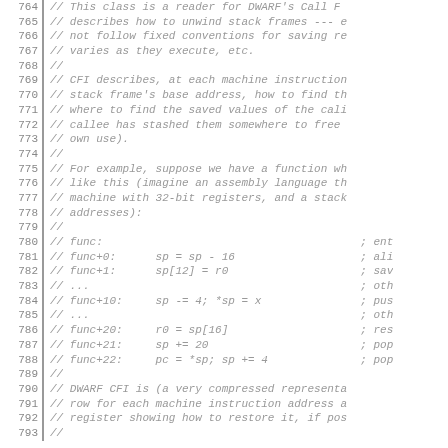Source code listing, lines 764-793, showing DWARF CFI reader comments and assembly example
764  // This class is a reader for DWARF's Call F...
765  // describes how to unwind stack frames --- e...
766  // not follow fixed conventions for saving re...
767  // varies as they execute, etc.
768  //
769  // CFI describes, at each machine instruction...
770  // stack frame's base address, how to find th...
771  // where to find the saved values of the cali...
772  // callee has stashed them somewhere to free...
773  // own use).
774  //
775  // For example, suppose we have a function wh...
776  // like this (imagine an assembly language th...
777  // machine with 32-bit registers, and a stack...
778  // addresses):
779  //
780  // func:                                       ; ent
781  // func+0:      sp = sp - 16                   ; ali
782  // func+1:      sp[12] = r0                    ; sav
783  // ...                                          ; oth
784  // func+10:     sp -= 4; *sp = x               ; pus
785  // ...                                          ; oth
786  // func+20:     r0 = sp[16]                    ; res
787  // func+21:     sp += 20                       ; pop
788  // func+22:     pc = *sp; sp += 4              ; pop
789  //
790  // DWARF CFI is (a very compressed representa...
791  // row for each machine instruction address a...
792  // register showing how to restore it, if pos...
793  //